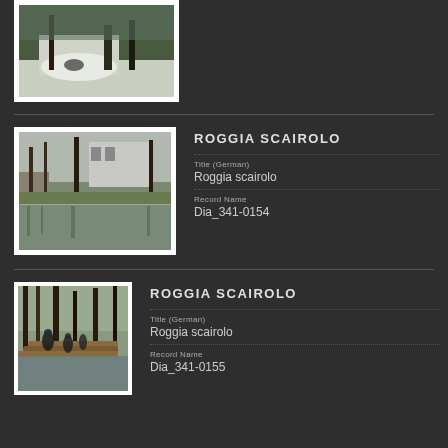[Figure (photo): Partial view of a snowy/icy outdoor scene, a person crouching in snow near trees.]
ROGGIA SCAIROLO
Title (German)
Roggia scairolo
Record Name
Dia_341-0154
[Figure (photo): Photo of a reflective water channel (roggia) with stone walls, bare trees, and a building in the background.]
ROGGIA SCAIROLO
Title (German)
Roggia scairolo
Record Name
Dia_341-0155
[Figure (photo): Workers clearing debris and logs along a flooded waterway, trees in background.]